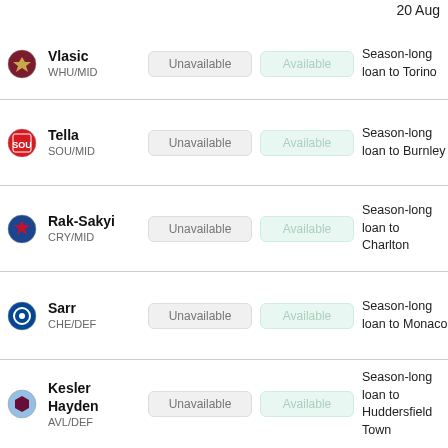20 Aug
Vlasic WHU/MID | Unavailable | Available | Season-long loan to Torino
Tella SOU/MID | Unavailable | Available | Season-long loan to Burnley
Rak-Sakyi CRY/MID | Unavailable | Available | Season-long loan to Charlton
Sarr CHE/DEF | Unavailable | Available | Season-long loan to Monaco
Kesler Hayden AVL/DEF | Unavailable | Available | Season-long loan to Huddersfield Town